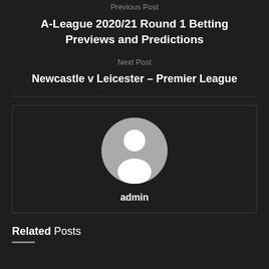Previous Post
A-League 2020/21 Round 1 Betting Previews and Predictions
Next Post
Newcastle v Leicester – Premier League
[Figure (illustration): Dark author bio box with a generic grey avatar circle icon and the username 'admin' below it]
Related Posts